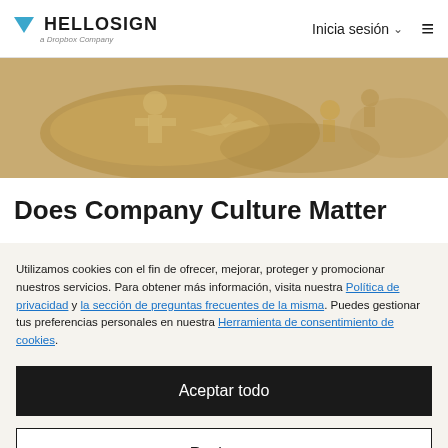HELLOSIGN a Dropbox Company | Inicia sesión
[Figure (photo): Partial view of cookie dough cutouts on a light background, showing gingerbread-like shapes including people and an airplane.]
Does Company Culture Matter
Utilizamos cookies con el fin de ofrecer, mejorar, proteger y promocionar nuestros servicios. Para obtener más información, visita nuestra Política de privacidad y la sección de preguntas frecuentes de la misma. Puedes gestionar tus preferencias personales en nuestra Herramienta de consentimiento de cookies.
Aceptar todo
Rechazar